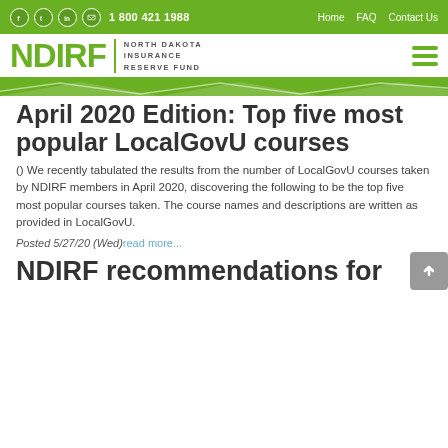1 800 421 1988 | Home | FAQ | Contact Us
[Figure (logo): NDIRF North Dakota Insurance Reserve Fund logo with green hamburger menu]
April 2020 Edition: Top five most popular LocalGovU courses
() We recently tabulated the results from the number of LocalGovU courses taken by NDIRF members in April 2020, discovering the following to be the top five most popular courses taken. The course names and descriptions are written as provided in LocalGovU.
Posted 5/27/20 (Wed) read more...
NDIRF recommendations for